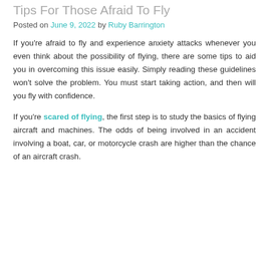Tips For Those Afraid To Fly
Posted on June 9, 2022 by Ruby Barrington
If you're afraid to fly and experience anxiety attacks whenever you even think about the possibility of flying, there are some tips to aid you in overcoming this issue easily. Simply reading these guidelines won't solve the problem. You must start taking action, and then will you fly with confidence.
If you're scared of flying, the first step is to study the basics of flying aircraft and machines. The odds of being involved in an accident involving a boat, car, or motorcycle crash are higher than the chance of an aircraft crash.